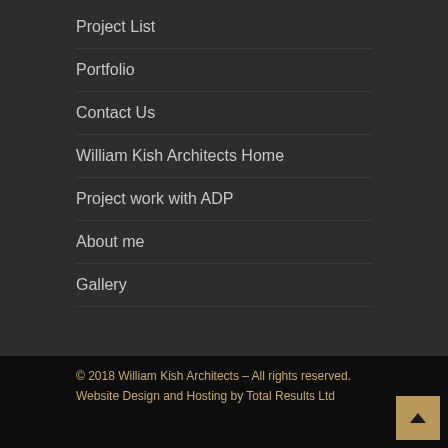Project List
Portfolio
Contact Us
William Kish Architects Home
Project work with ADP
About me
Gallery
© 2018 William Kish Architects – All rights reserved.
Website Design and Hosting by Total Results Ltd